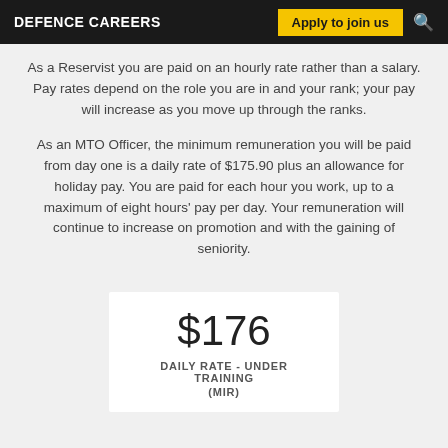DEFENCE CAREERS | Apply to join us
As a Reservist you are paid on an hourly rate rather than a salary.  Pay rates depend on the role you are in and your rank; your pay will increase as you move up through the ranks.
As an MTO Officer, the minimum remuneration you will be paid from day one is a daily rate of $175.90 plus an allowance for holiday pay.  You are paid for each hour you work, up to a maximum of eight hours' pay per day.  Your remuneration will continue to increase on promotion and with the gaining of seniority.
$176
DAILY RATE - UNDER TRAINING
(MIR)